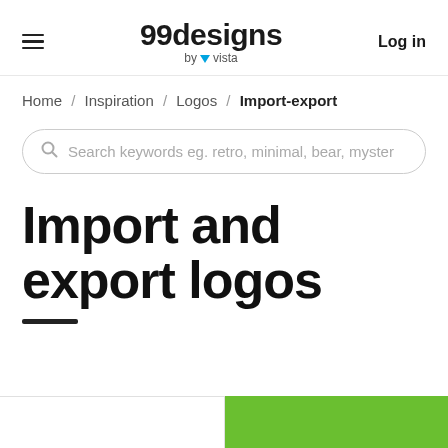99designs by vista — Log in
Home / Inspiration / Logos / Import-export
Search keywords eg. retro, minimal, bear, myster
Import and export logos
[Figure (illustration): Two partial thumbnail images at the bottom: left is white/light, right is green background]